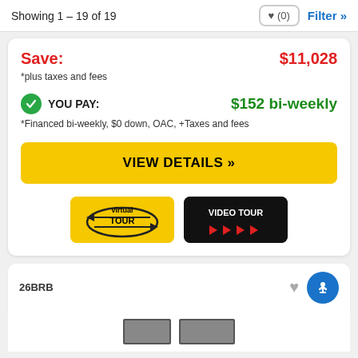Showing 1 – 19 of 19
Save: $11,028
*plus taxes and fees
YOU PAY: $152 bi-weekly
*Financed bi-weekly, $0 down, OAC, +Taxes and fees
VIEW DETAILS »
[Figure (screenshot): Virtual Tour button - yellow background with car icon and arrows]
[Figure (screenshot): VIDEO TOUR button - black background with red arrows]
26BRB